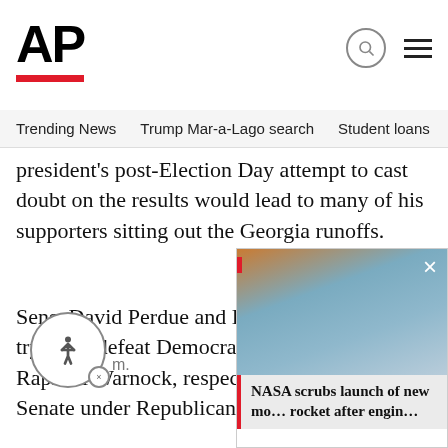AP
Trending News   Trump Mar-a-Lago search   Student loans   U.S.
president's post-Election Day attempt to cast doubt on the results would lead to many of his supporters sitting out the Georgia runoffs.
Sens. David Perdue and Kelly Loeffler are trying to defeat Democrats Jon Ossoff and Raphael Warnock, respectively, and keep the Senate under Republican control.
READ MORE
[Figure (screenshot): NASA scrubs launch of new mo... rocket after engin... popup overlay with sky/cloud background image and red left border accent]